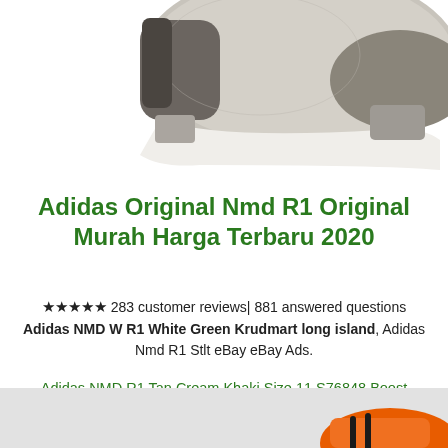[Figure (photo): Partial view of a grey/beige Adidas NMD R1 sneaker, showing the upper mesh material and white sole, cropped at top of page]
Adidas Original Nmd R1 Original Murah Harga Terbaru 2020
★★★★★ 283 customer reviews| 881 answered questions
Adidas NMD W R1 White Green Krudmart long island, Adidas Nmd R1 Stlt eBay eBay Ads.
Adidas NMD R1 Tan Cream Khaki Size 11 S76848 Boost
[Figure (photo): Partial bottom section showing grey background with an orange sneaker visible at bottom right corner]